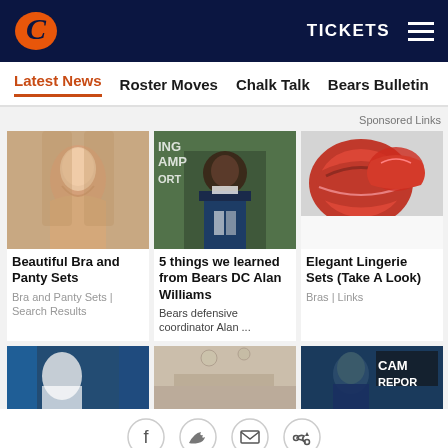Chicago Bears website header with logo, TICKETS link, and hamburger menu
Latest News | Roster Moves | Chalk Talk | Bears Bulletin
Sponsored Links
[Figure (photo): Young woman with long brown hair, bare shoulders, looking at camera]
Beautiful Bra and Panty Sets
Bra and Panty Sets | Search Results
[Figure (photo): Bears defensive coordinator Alan Williams in navy Bears gear holding papers during training camp]
5 things we learned from Bears DC Alan Williams
Bears defensive coordinator Alan ...
[Figure (photo): Red lace bra and panty set on white background]
Elegant Lingerie Sets (Take A Look)
Bras | Links
[Figure (photo): Bears football player in white uniform on field]
[Figure (photo): Modern room interior with pendant lights and wooden wall panels]
[Figure (photo): Bears player in navy helmet, Training Camp Report overlay]
Social share icons: Facebook, Twitter, Email, Share